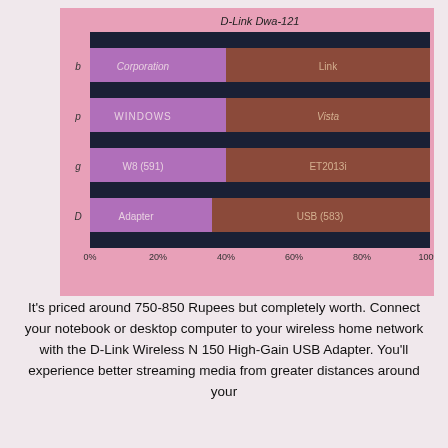[Figure (stacked-bar-chart): D-Link Dwa-121]
It's priced around 750-850 Rupees but completely worth. Connect your notebook or desktop computer to your wireless home network with the D-Link Wireless N 150 High-Gain USB Adapter. You'll experience better streaming media from greater distances around your